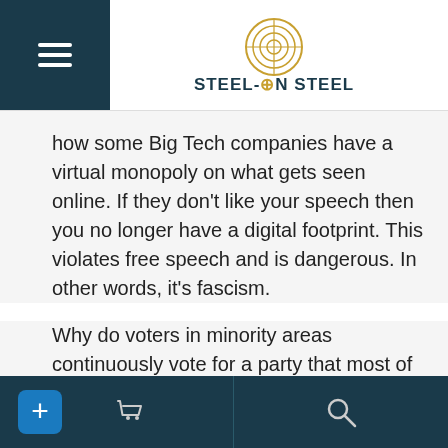Steel on Steel — News Radio with John Loeffler
how some Big Tech companies have a virtual monopoly on what gets seen online. If they don't like your speech then you no longer have a digital footprint. This violates free speech and is dangerous. In other words, it's fascism.
Why do voters in minority areas continuously vote for a party that most of the time does not represent their values? John welcomes conservative author and speaker Autry Pruitt (newjourneypac.org) to the show, who examines how Republicans have dropped the ball in minority neighborhoods and churches. He also explains how
+ cart search